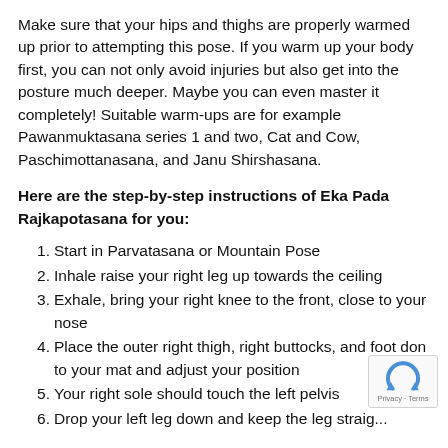Make sure that your hips and thighs are properly warmed up prior to attempting this pose. If you warm up your body first, you can not only avoid injuries but also get into the posture much deeper. Maybe you can even master it completely! Suitable warm-ups are for example Pawanmuktasana series 1 and two, Cat and Cow, Paschimottanasana, and Janu Shirshasana.
Here are the step-by-step instructions of Eka Pada Rajkapotasana for you:
Start in Parvatasana or Mountain Pose
Inhale raise your right leg up towards the ceiling
Exhale, bring your right knee to the front, close to your nose
Place the outer right thigh, right buttocks, and foot don to your mat and adjust your position
Your right sole should touch the left pelvis
Drop your left leg down and keep the leg straig...